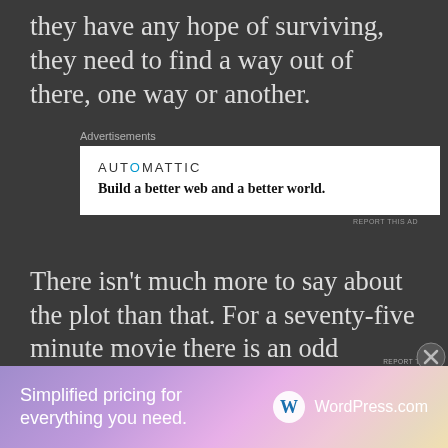they have any hope of surviving, they need to find a way out of there, one way or another.
[Figure (screenshot): Automattic advertisement: 'Build a better web and a better world.']
There isn't much more to say about the plot than that. For a seventy-five minute movie there is an odd amount of plot devices here. It was like they had a lot of ideas but no real idea, or desire to fully investigate those ideas. Characters pop up only to die ironically and other characters die off just to kill off some of
[Figure (screenshot): WordPress.com advertisement: 'Simplified pricing for everything you need.']